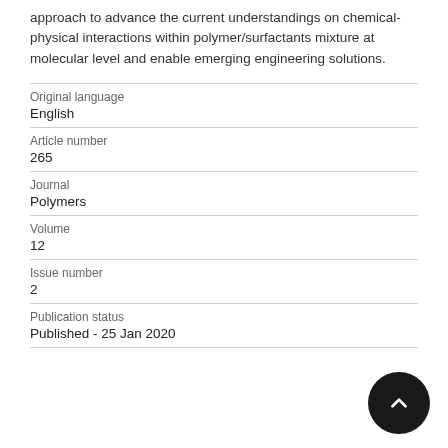approach to advance the current understandings on chemical-physical interactions within polymer/surfactants mixture at molecular level and enable emerging engineering solutions.
| Original language | English |
| Article number | 265 |
| Journal | Polymers |
| Volume | 12 |
| Issue number | 2 |
| Publication status | Published - 25 Jan 2020 |